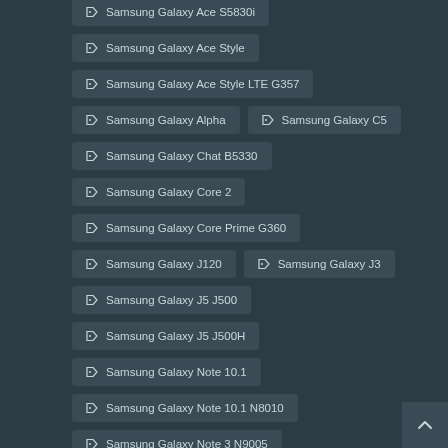Samsung Galaxy Ace S5830i
Samsung Galaxy Ace Style
Samsung Galaxy Ace Style LTE G357
Samsung Galaxy Alpha
Samsung Galaxy C5
Samsung Galaxy Chat B5330
Samsung Galaxy Core 2
Samsung Galaxy Core Prime G360
Samsung Galaxy J120
Samsung Galaxy J3
Samsung Galaxy J5 J500
Samsung Galaxy J5 J500H
Samsung Galaxy Note 10.1
Samsung Galaxy Note 10.1 N8010
Samsung Galaxy Note 3 N9005